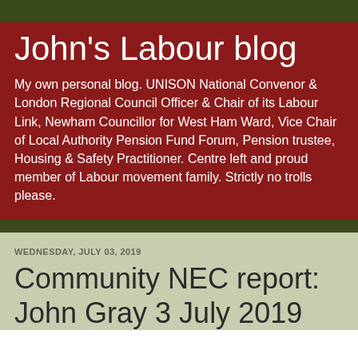John's Labour blog
My own personal blog. UNISON National Convenor & London Regional Council Officer & Chair of its Labour Link, Newham Councillor for West Ham Ward, Vice Chair of Local Authority Pension Fund Forum, Pension trustee, Housing & Safety Practitioner. Centre left and proud member of Labour movement family. Strictly no trolls please.
WEDNESDAY, JULY 03, 2019
Community NEC report: John Gray 3 July 2019